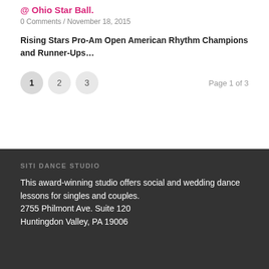@ Ohio Star Ball.
0 Comments / November 18, 2015
Rising Stars Pro-Am Open American Rhythm Champions and Runner-Ups…
1  2  3   Page 1 of 3
SITI DANCE STUDIO
This award-winning studio offers social and wedding dance lessons for singles and couples.
2755 Philmont Ave. Suite 120
Huntingdon Valley, PA 19006